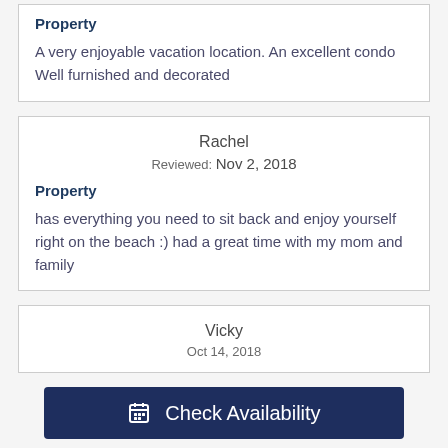Property
A very enjoyable vacation location. An excellent condo
Well furnished and decorated
Rachel
Reviewed: Nov 2, 2018
Property
has everything you need to sit back and enjoy yourself right on the beach :) had a great time with my mom and family
Vicky
Oct 14, 2018
Check Availability